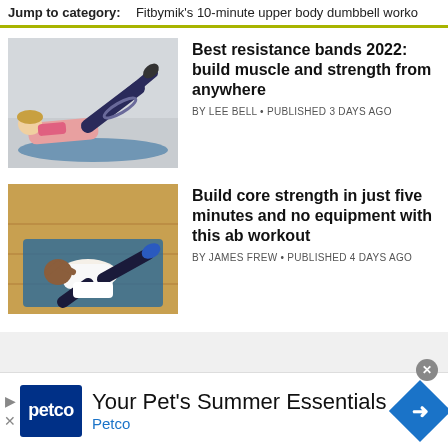Jump to category:  Fitbymik's 10-minute upper body dumbbell worko
[Figure (photo): Woman lying on a yoga mat doing a glute bridge exercise with a resistance band around her thighs, legs raised]
Best resistance bands 2022: build muscle and strength from anywhere
BY LEE BELL • PUBLISHED 3 DAYS AGO
[Figure (photo): Man doing bicycle crunches on a blue yoga mat on a wooden floor]
Build core strength in just five minutes and no equipment with this ab workout
BY JAMES FREW • PUBLISHED 4 DAYS AGO
[Figure (infographic): Petco advertisement banner: Your Pet's Summer Essentials, Petco logo and blue arrow icon]